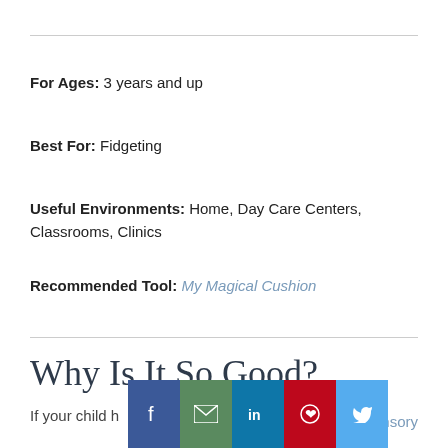For Ages: 3 years and up
Best For: Fidgeting
Useful Environments: Home, Day Care Centers, Classrooms, Clinics
Recommended Tool: My Magical Cushion
Why Is It So Good?
If your child ...sensory